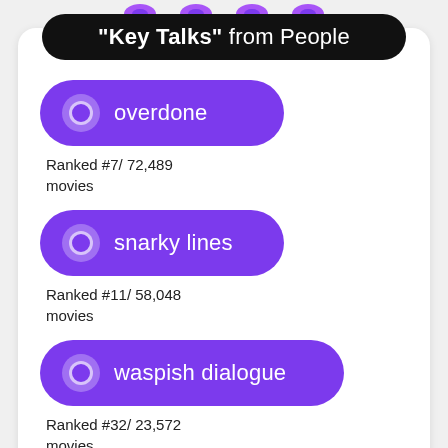"Key Talks" from People
overdone
Ranked #7/ 72,489 movies
snarky lines
Ranked #11/ 58,048 movies
waspish dialogue
Ranked #32/ 23,572 movies